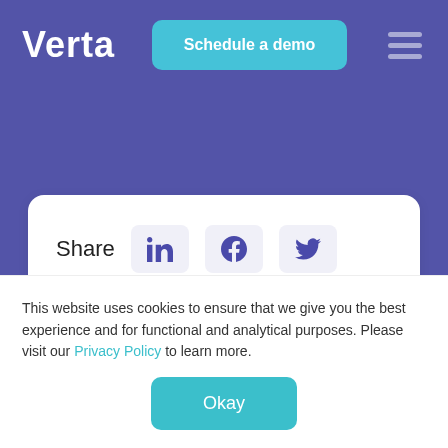Verta
Schedule a demo
[Figure (screenshot): Share row with LinkedIn, Facebook, and Twitter icon buttons]
Happy birthday...
This website uses cookies to ensure that we give you the best experience and for functional and analytical purposes. Please visit our Privacy Policy to learn more.
Okay